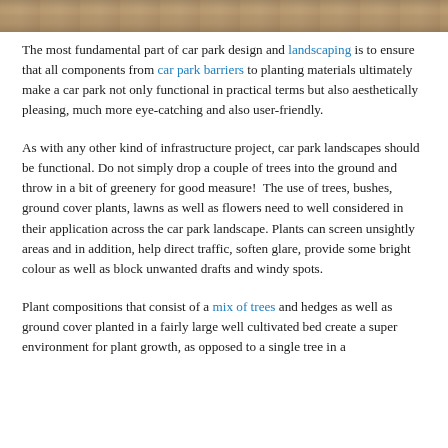[Figure (photo): Partial photograph at top of page showing what appears to be a car park or road surface with muted tan/brown tones]
The most fundamental part of car park design and landscaping is to ensure that all components from car park barriers to planting materials ultimately make a car park not only functional in practical terms but also aesthetically pleasing, much more eye-catching and also user-friendly.
As with any other kind of infrastructure project, car park landscapes should be functional. Do not simply drop a couple of trees into the ground and throw in a bit of greenery for good measure!  The use of trees, bushes, ground cover plants, lawns as well as flowers need to well considered in their application across the car park landscape. Plants can screen unsightly areas and in addition, help direct traffic, soften glare, provide some bright colour as well as block unwanted drafts and windy spots.
Plant compositions that consist of a mix of trees and hedges as well as ground cover planted in a fairly large well cultivated bed create a super environment for plant growth, as opposed to a single tree in a